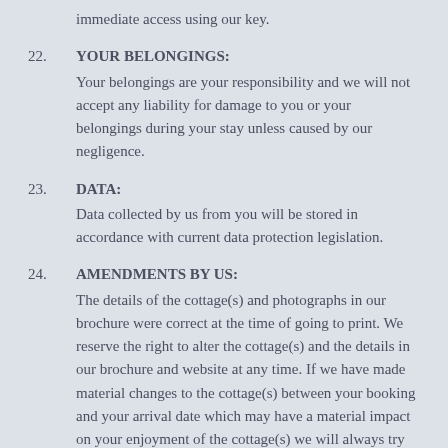immediate access using our key.
22. YOUR BELONGINGS: Your belongings are your responsibility and we will not accept any liability for damage to you or your belongings during your stay unless caused by our negligence.
23. DATA: Data collected by us from you will be stored in accordance with current data protection legislation.
24. AMENDMENTS BY US: The details of the cottage(s) and photographs in our brochure were correct at the time of going to print. We reserve the right to alter the cottage(s) and the details in our brochure and website at any time. If we have made material changes to the cottage(s) between your booking and your arrival date which may have a material impact on your enjoyment of the cottage(s) we will always try to